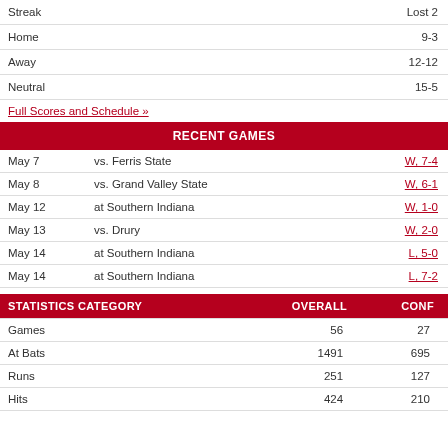|  |  |
| --- | --- |
| Streak | Lost 2 |
| Home | 9-3 |
| Away | 12-12 |
| Neutral | 15-5 |
Full Scores and Schedule »
RECENT GAMES
| Date | Opponent | Result |
| --- | --- | --- |
| May 7 | vs. Ferris State | W, 7-4 |
| May 8 | vs. Grand Valley State | W, 6-1 |
| May 12 | at Southern Indiana | W, 1-0 |
| May 13 | vs. Drury | W, 2-0 |
| May 14 | at Southern Indiana | L, 5-0 |
| May 14 | at Southern Indiana | L, 7-2 |
| STATISTICS CATEGORY | OVERALL | CONF |
| --- | --- | --- |
| Games | 56 | 27 |
| At Bats | 1491 | 695 |
| Runs | 251 | 127 |
| Hits | 424 | 210 |